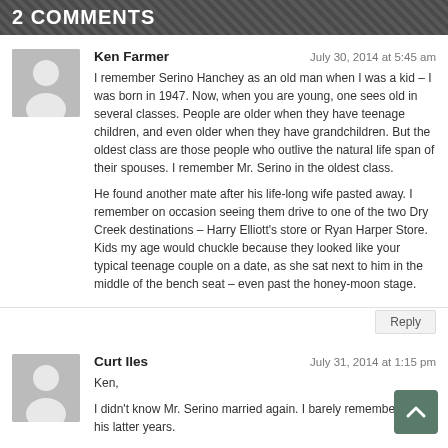2 COMMENTS
Ken Farmer
July 30, 2014 at 5:45 am
I remember Serino Hanchey as an old man when I was a kid – I was born in 1947. Now, when you are young, one sees old in several classes. People are older when they have teenage children, and even older when they have grandchildren. But the oldest class are those people who outlive the natural life span of their spouses. I remember Mr. Serino in the oldest class.
He found another mate after his life-long wife pasted away. I remember on occasion seeing them drive to one of the two Dry Creek destinations – Harry Elliott's store or Ryan Harper Store. Kids my age would chuckle because they looked like your typical teenage couple on a date, as she sat next to him in the middle of the bench seat – even past the honey-moon stage.
Curt Iles
July 31, 2014 at 1:15 pm
Ken,
I didn't know Mr. Serino married again. I barely remember him in his latter years.
As I visited their children, Be fore I had